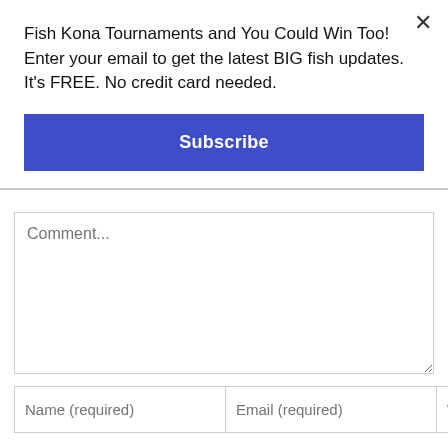Fish Kona Tournaments and You Could Win Too! Enter your email to get the latest BIG fish updates. It's FREE. No credit card needed.
[Figure (screenshot): Blue Subscribe button]
[Figure (screenshot): Comment form with text area, Name (required), Email (required), Website fields, and Save my name checkbox]
Save my name, email, and website in this browser for the next time I comment.